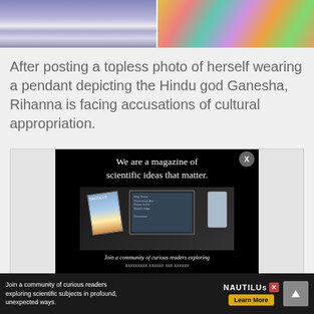[Figure (photo): Two photos side by side: left shows a person from waist down wearing white/silver shorts with visible tattoos on arm; right shows a person with colorful tie-dye head wrap]
After posting a topless photo of herself wearing a pendant depicting the Hindu god Ganesha, Rihanna is facing accusations of cultural appropriation.
[Figure (screenshot): Nautilus magazine advertisement on black background with text 'We are a magazine of scientific ideas that matter.' showing image of magazine covers and devices, with subtext 'Join a community of curious readers exploring scientific ideas that matter.' and a close button (X)]
[Figure (screenshot): Bottom banner ad for Nautilus: 'Join a community of curious readers exploring scientific subjects in profound, unexpected ways.' with NAUTILUS branding and Learn More button. Scroll up button at bottom right.]